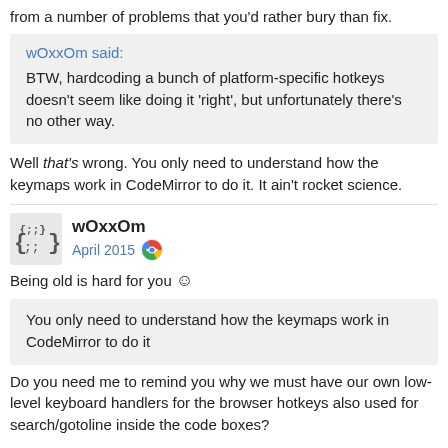from a number of problems that you'd rather bury than fix.
wOxxOm said: BTW, hardcoding a bunch of platform-specific hotkeys doesn't seem like doing it 'right', but unfortunately there's no other way.
Well that's wrong. You only need to understand how the keymaps work in CodeMirror to do it. It ain't rocket science.
wOxxOm April 2015
Being old is hard for you 🙂
You only need to understand how the keymaps work in CodeMirror to do it
Do you need me to remind you why we must have our own low-level keyboard handlers for the browser hotkeys also used for search/gotoline inside the code boxes?